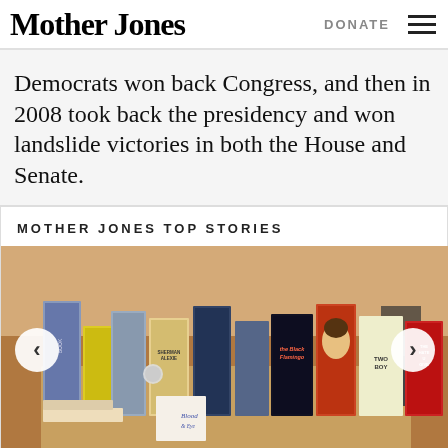Mother Jones  DONATE  ☰
Democrats won back Congress, and then in 2008 took back the presidency and won landslide victories in both the House and Senate.
MOTHER JONES TOP STORIES
[Figure (photo): Photo of a bookstore or library display table with many book covers visible including 'the Black Flamingo', 'Blood & Guts', 'SHERMAN ALEXIE', 'The Hate U Give', and other titles. Navigation arrows (left and right) are overlaid on the image.]